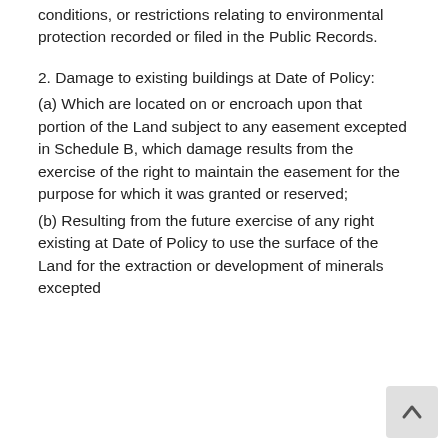conditions, or restrictions relating to environmental protection recorded or filed in the Public Records.
2. Damage to existing buildings at Date of Policy:
(a) Which are located on or encroach upon that portion of the Land subject to any easement excepted in Schedule B, which damage results from the exercise of the right to maintain the easement for the purpose for which it was granted or reserved;
(b) Resulting from the future exercise of any right existing at Date of Policy to use the surface of the Land for the extraction or development of minerals excepted